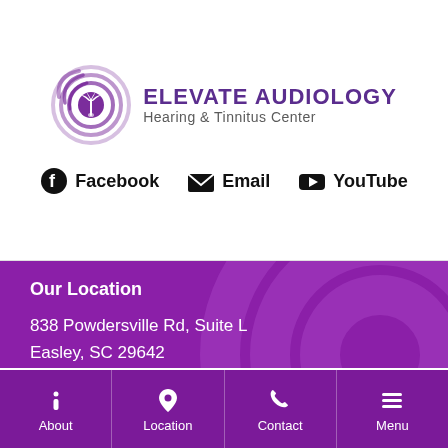[Figure (logo): Elevate Audiology Hearing & Tinnitus Center logo with purple spiral/sound wave icon and palm tree]
Facebook  Email  YouTube
Our Location
838 Powdersville Rd, Suite L
Easley, SC 29642

Ph: (864) 442-5555
Fx: (844) 810-8866
About  Location  Contact  Menu